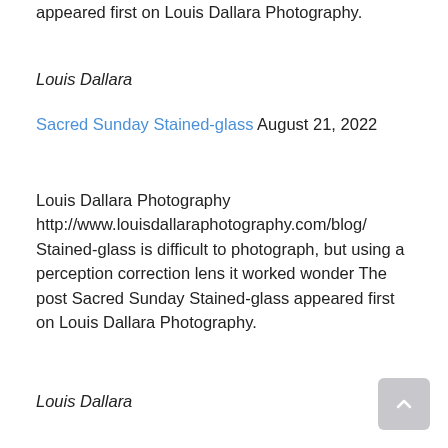appeared first on Louis Dallara Photography.
Louis Dallara
Sacred Sunday Stained-glass August 21, 2022
Louis Dallara Photography http://www.louisdallaraphotography.com/blog/ Stained-glass is difficult to photograph, but using a perception correction lens it worked wonder The post Sacred Sunday Stained-glass appeared first on Louis Dallara Photography.
Louis Dallara